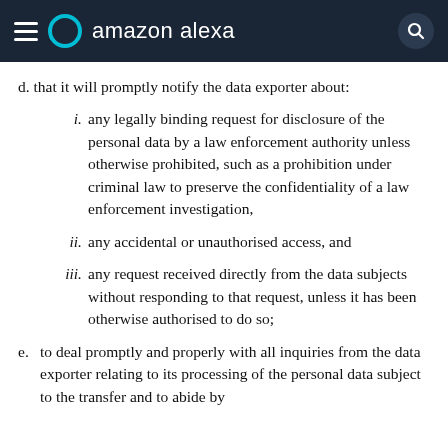amazon alexa
d. that it will promptly notify the data exporter about:
i. any legally binding request for disclosure of the personal data by a law enforcement authority unless otherwise prohibited, such as a prohibition under criminal law to preserve the confidentiality of a law enforcement investigation,
ii. any accidental or unauthorised access, and
iii. any request received directly from the data subjects without responding to that request, unless it has been otherwise authorised to do so;
e. to deal promptly and properly with all inquiries from the data exporter relating to its processing of the personal data subject to the transfer and to abide by